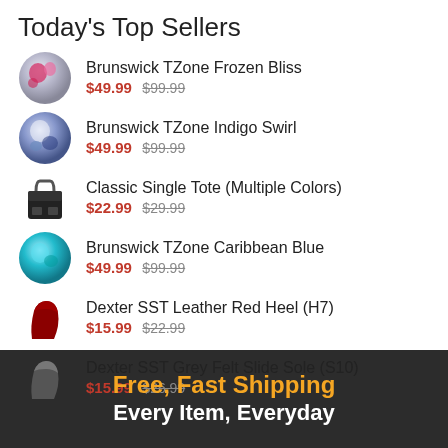Today's Top Sellers
Brunswick TZone Frozen Bliss $49.99 $99.99
Brunswick TZone Indigo Swirl $49.99 $99.99
Classic Single Tote (Multiple Colors) $22.99 $29.99
Brunswick TZone Caribbean Blue $49.99 $99.99
Dexter SST Leather Red Heel (H7) $15.99 $22.99
Dexter SST Grey Felt Slide Sole (S10) $15.99 $26.99
Free, Fast Shipping Every Item, Everyday